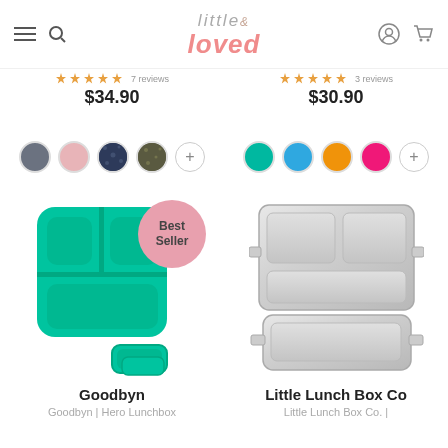[Figure (screenshot): Little & Loved website header with logo, navigation icons (menu, search, account, cart)]
$34.90
$30.90
[Figure (infographic): Color swatches for left product: dark gray, pink, navy camo, dark olive, plus more button]
[Figure (infographic): Color swatches for right product: teal, blue, orange, hot pink, plus more button]
[Figure (photo): Goodbyn Hero Lunchbox in teal/green color with small snack containers, Best Seller badge]
[Figure (photo): Little Lunch Box Co stainless steel divided lunchbox tray]
Goodbyn
Goodbyn | Hero Lunchbox
Little Lunch Box Co
Little Lunch Box Co. |